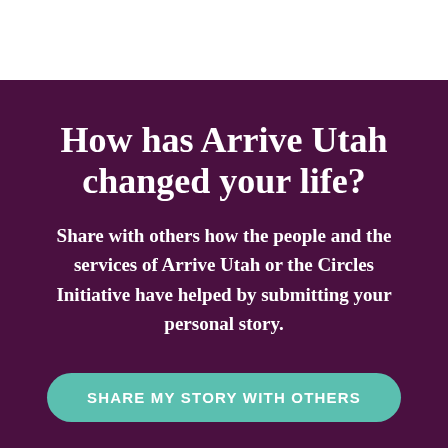How has Arrive Utah changed your life?
Share with others how the people and the services of Arrive Utah or the Circles Initiative have helped by submitting your personal story.
SHARE MY STORY WITH OTHERS